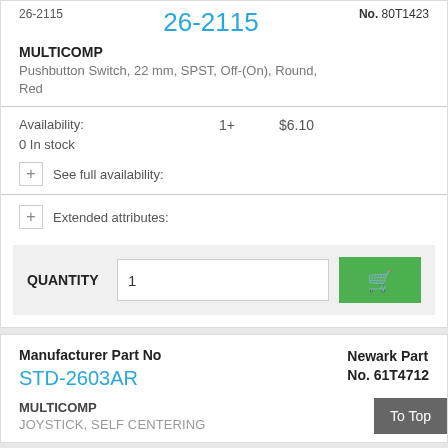26-2115
26-2115
No. 80T1423
MULTICOMP
Pushbutton Switch, 22 mm, SPST, Off-(On), Round, Red
Availability:
1+
$6.10
0 In stock
See full availability:
Extended attributes:
QUANTITY
Manufacturer Part No
STD-2603AR
Newark Part No. 61T4712
MULTICOMP
JOYSTICK, SELF CENTERING
To Top